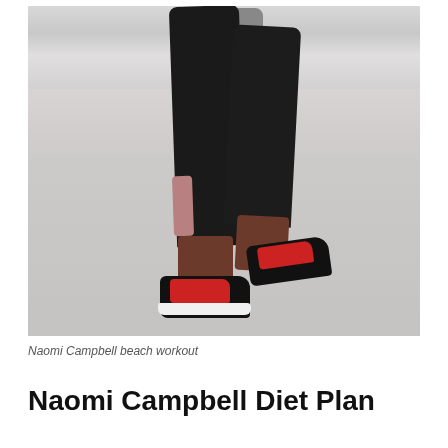[Figure (photo): Close-up photo of a person's legs wearing black capri leggings with pink/mauve accent panels, running or jogging on a sandy white beach surface. The person is wearing black and red Reebok athletic shoes. Another person's legs in grey shoes are partially visible in the background upper portion. The scene is outdoors on a bright sandy surface.]
Naomi Campbell beach workout
Naomi Campbell Diet Plan